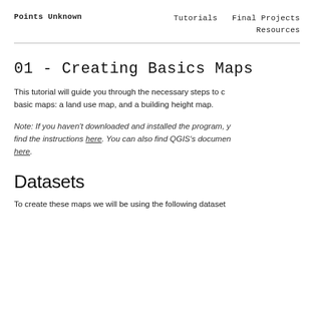Points Unknown    Tutorials  Final Projects
                                 Resources
01 - Creating Basics Maps
This tutorial will guide you through the necessary steps to create basic maps: a land use map, and a building height map.
Note: If you haven't downloaded and installed the program, you can find the instructions here. You can also find QGIS's documentation here.
Datasets
To create these maps we will be using the following datasets